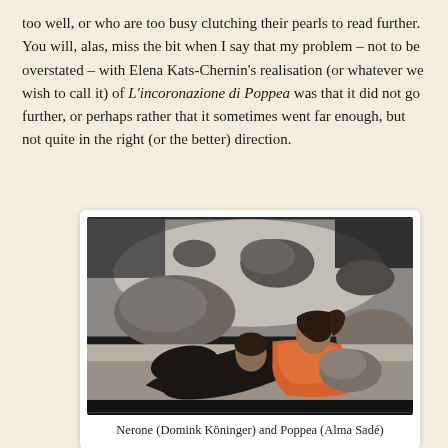too well, or who are too busy clutching their pearls to read further. You will, alas, miss the bit when I say that my problem – not to be overstated – with Elena Kats-Chernin's realisation (or whatever we wish to call it) of L'incoronazione di Poppea was that it did not go further, or perhaps rather that it sometimes went far enough, but not quite in the right (or the better) direction.
[Figure (photo): Opera stage photo showing two performers: a person in black suit leaning over and a woman in an orange dress reclining against rocks, on a stage set with large rocks against a dark and grey backdrop.]
Nerone (Domink Köninger) and Poppea (Alma Sadé)